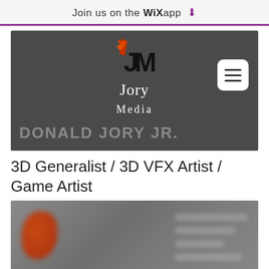Join us on the WiX app ⬇
[Figure (screenshot): Dark gray hero banner with JM logo (stylized orange and black letters), 'Jory Media' text in white, hamburger menu button, and 'DONALD JORY JR.' watermark text]
3D Generalist / 3D VFX Artist / Game Artist
[Figure (photo): Blurred/obscured image with orange JM logo visible on the left and blurred gray content on the right]